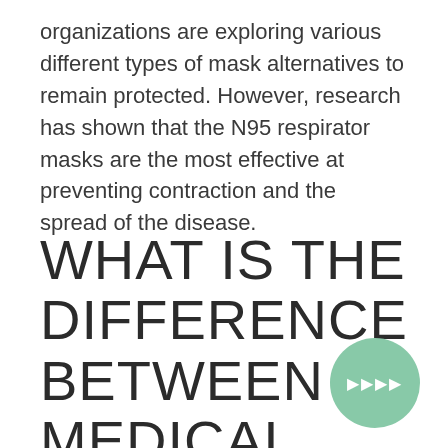organizations are exploring various different types of mask alternatives to remain protected. However, research has shown that the N95 respirator masks are the most effective at preventing contraction and the spread of the disease.
WHAT IS THE DIFFERENCE BETWEEN MEDICAL N95